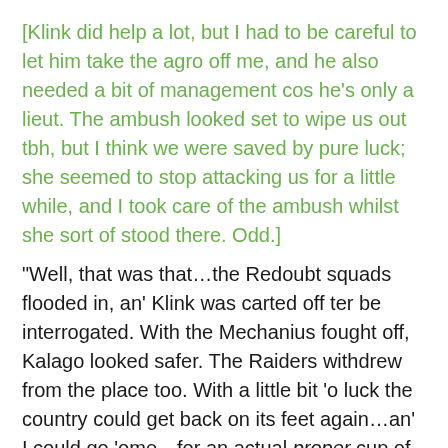[Klink did help a lot, but I had to be careful to let him take the agro off me, and he also needed a bit of management cos he’s only a lieut. The ambush looked set to wipe us out tbh, but I think we were saved by pure luck; she seemed to stop attacking us for a little while, and I took care of the ambush whilst she sort of stood there. Odd.]
“Well, that was that…the Redoubt squads flooded in, an’ Klink was carted off ter be interrogated. With the Mechanius fought off, Kalago looked safer. The Raiders withdrew from the place too. With a little bit ‘o luck the country could get back on its feet again…an’ I could go ‘ome…for an actual proper cup of tea…”
[end]
Right. This is a good solid arc that gave me a load of fun,